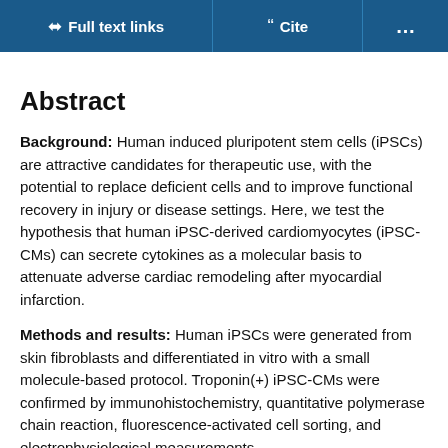Full text links | Cite | ...
Abstract
Background: Human induced pluripotent stem cells (iPSCs) are attractive candidates for therapeutic use, with the potential to replace deficient cells and to improve functional recovery in injury or disease settings. Here, we test the hypothesis that human iPSC-derived cardiomyocytes (iPSC-CMs) can secrete cytokines as a molecular basis to attenuate adverse cardiac remodeling after myocardial infarction.
Methods and results: Human iPSCs were generated from skin fibroblasts and differentiated in vitro with a small molecule-based protocol. Troponin(+) iPSC-CMs were confirmed by immunohistochemistry, quantitative polymerase chain reaction, fluorescence-activated cell sorting, and electrophysiological measurements.